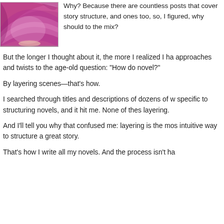[Figure (photo): Close-up photo of a purple/magenta onion or similar layered vegetable showing its layers]
Why? Because there are countless posts that cover story structure, and ones too, so, I figured, why should to the mix?
But the longer I thought about it, the more I realized I ha approaches and twists to the age-old question: “How do novel?”
By layering scenes—that’s how.
I searched through titles and descriptions of dozens of w specific to structuring novels, and it hit me. None of thes layering.
And I’ll tell you why that confused me: layering is the mo intuitive way to structure a great story.
That’s how I write all my novels. And the process isn’t ha